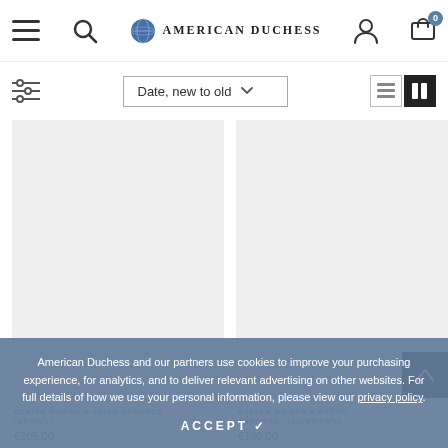American Duchess - navigation header with menu, search, logo, account, cart (0)
Date, new to old
[Figure (screenshot): Product image placeholder for CLAIRE WOMEN'S 1840S OXFORDS (BROWN) - light gray rectangle]
CLAIRE WOMEN'S 1840S OXFORDS (BROWN)
€205,00
[Figure (screenshot): Product image placeholder for EVELYN WOMEN'S RETRO OXFORDS (TAN/BROWN) - light gray rectangle]
EVELYN WOMEN'S RETRO OXFORDS (TAN/BROWN)
€180,00
American Duchess and our partners use cookies to improve your purchasing experience, for analytics, and to deliver relevant advertising on other websites. For full details of how we use your personal information, please view our privacy policy.
ACCEPT ✓